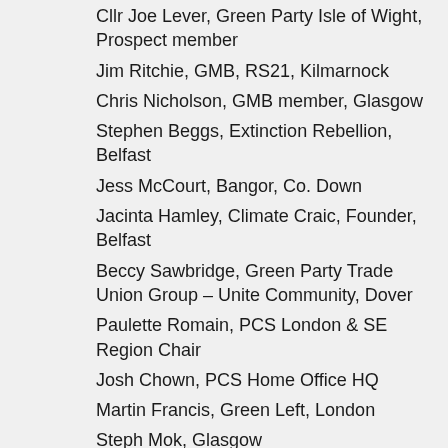Cllr Joe Lever, Green Party Isle of Wight, Prospect member
Jim Ritchie, GMB, RS21, Kilmarnock
Chris Nicholson, GMB member, Glasgow
Stephen Beggs, Extinction Rebellion, Belfast
Jess McCourt, Bangor, Co. Down
Jacinta Hamley, Climate Craic, Founder, Belfast
Beccy Sawbridge, Green Party Trade Union Group – Unite Community, Dover
Paulette Romain, PCS London & SE Region Chair
Josh Chown, PCS Home Office HQ
Martin Francis, Green Left, London
Steph Mok, Glasgow
Ian Allinson, Manchester TUC exec member
Derek Fraser, NEU School Rep, Manchester
John Burgess, Barnet UNISON, London